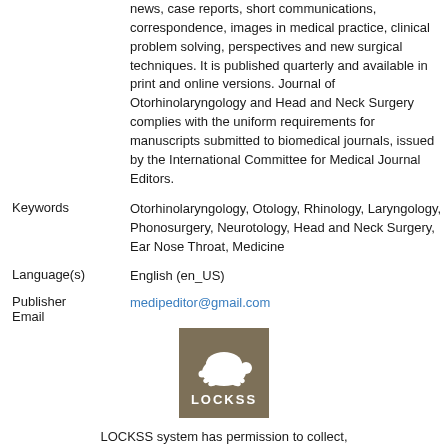news, case reports, short communications, correspondence, images in medical practice, clinical problem solving, perspectives and new surgical techniques. It is published quarterly and available in print and online versions. Journal of Otorhinolaryngology and Head and Neck Surgery complies with the uniform requirements for manuscripts submitted to biomedical journals, issued by the International Committee for Medical Journal Editors.
Keywords: Otorhinolaryngology, Otology, Rhinology, Laryngology, Phonosurgery, Neurotology, Head and Neck Surgery, Ear Nose Throat, Medicine
Language(s): English (en_US)
Publisher Email: medipeditor@gmail.com
[Figure (logo): LOCKSS tortoise logo with brown/tan background and white tortoise illustration with LOCKSS text below]
LOCKSS system has permission to collect,